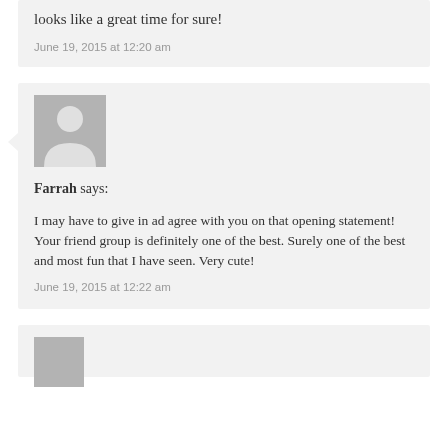looks like a great time for sure!
June 19, 2015 at 12:20 am
[Figure (illustration): Default user avatar placeholder - grey square with white silhouette of a person]
Farrah says:
I may have to give in ad agree with you on that opening statement! Your friend group is definitely one of the best. Surely one of the best and most fun that I have seen. Very cute!
June 19, 2015 at 12:22 am